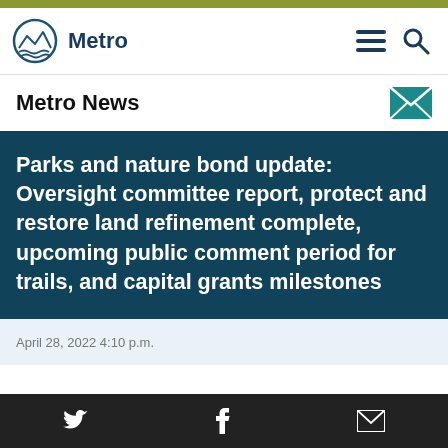Metro
Metro News
Parks and nature bond update: Oversight committee report, protect and restore land refinement complete, upcoming public comment period for trails, and capital grants milestones
April 28, 2022 4:10 p.m.
Twitter Facebook Email